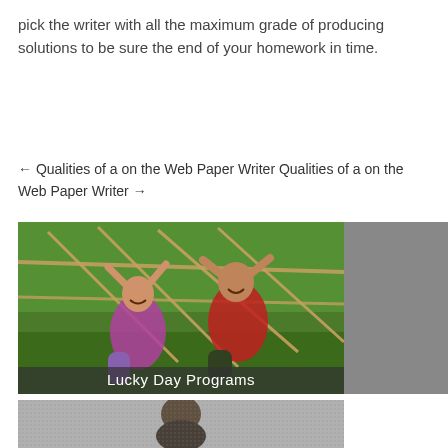pick the writer with all the maximum grade of producing solutions to be sure the end of your homework in time.
← Qualities of a on the Web Paper Writer Qualities of a on the Web Paper Writer →
[Figure (photo): Two children hanging from rope climbing equipment outdoors on a green playground, smiling at the camera. One child wearing pink shirt, the other in red. Text overlay reads 'Lucky Day Programs'. A gray bar extends to the right of the image.]
[Figure (photo): Black and white photo of a young African child looking downward.]